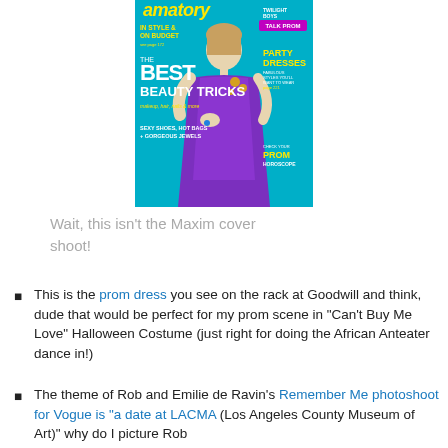[Figure (photo): Magazine cover showing a woman in a purple prom dress on a teal/cyan background. Cover text includes 'THE BEST BEAUTY TRICKS', 'IN STYLE & ON BUDGET', 'TALK PROM', 'TWILIGHT BOYS', 'PARTY DRESSES', 'PROM HOROSCOPE', 'SEXY SHOES, HOT BAGS + GORGEOUS JEWELS', 'makeup, hair, nails & more']
Wait, this isn't the Maxim cover shoot!
This is the prom dress you see on the rack at Goodwill and think, dude that would be perfect for my prom scene in "Can't Buy Me Love" Halloween Costume (just right for doing the African Anteater dance in!)
The theme of Rob and Emilie de Ravin's Remember Me photoshoot for Vogue is "a date at LACMA (Los Angeles County Museum of Art)" why do I picture Rob